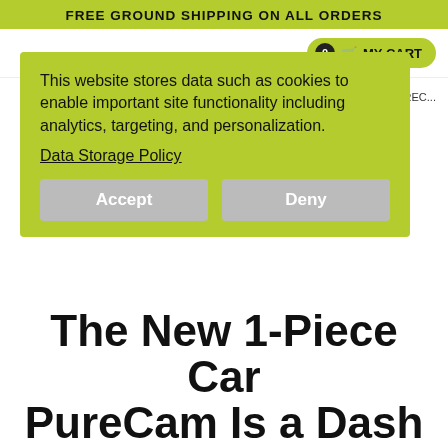FREE GROUND SHIPPING ON ALL ORDERS
This website stores data such as cookies to enable important site functionality including analytics, targeting, and personalization.
Data Storage Policy
Accept   Deny
R PUREC...
The New 1-Piece Car PureCam Is a Dash Cam with Every Feature You'll Ever Need
This new dash cam includes a variety of premium features that make it a powerful car accessory that